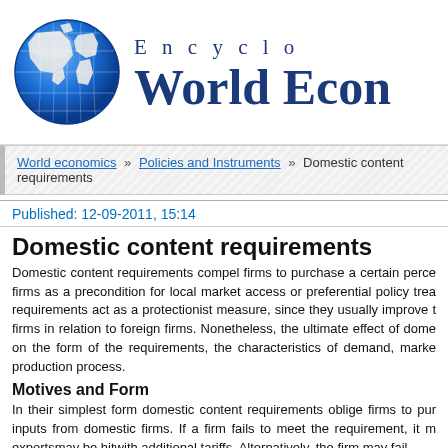[Figure (illustration): Globe icon showing Earth with blue oceans and white continents, grid lines overlay]
Encyclopedia of World Economics
World economics » Policies and Instruments » Domestic content requirements
Published: 12-09-2011, 15:14
Domestic content requirements
Domestic content requirements compel firms to purchase a certain percentage of their inputs from domestic firms as a precondition for local market access or preferential policy treatment. Domestic content requirements act as a protectionist measure, since they usually improve the competitive position of domestic firms in relation to foreign firms. Nonetheless, the ultimate effect of domestic content requirements depends on the form of the requirements, the characteristics of demand, market structure, and the nature of the production process.
Motives and Form
In their simplest form domestic content requirements oblige firms to purchase a certain percentage of their inputs from domestic firms. If a firm fails to meet the requirement, it may face penalties: its exports may be hit with additional tariffs. Alternatively, the firm may fail…